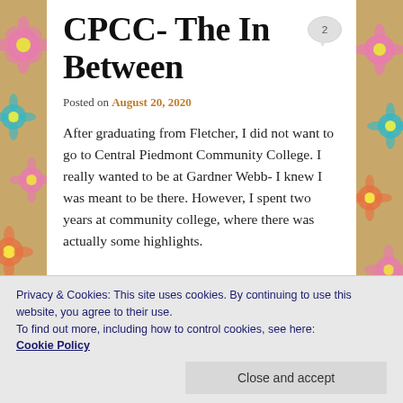CPCC- The In Between
Posted on August 20, 2020
After graduating from Fletcher, I did not want to go to Central Piedmont Community College. I really wanted to be at Gardner Webb- I knew I was meant to be there. However, I spent two years at community college, where there was actually some highlights.
Privacy & Cookies: This site uses cookies. By continuing to use this website, you agree to their use.
To find out more, including how to control cookies, see here: Cookie Policy
Close and accept